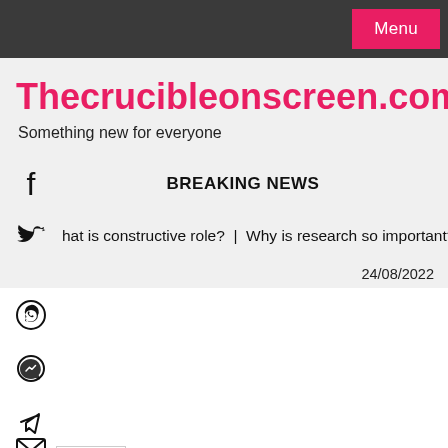Menu
Thecrucibleonscreen.com
Something new for everyone
BREAKING NEWS
hat is constructive role?  |  Why is research so important?  |
24/08/2022
Other